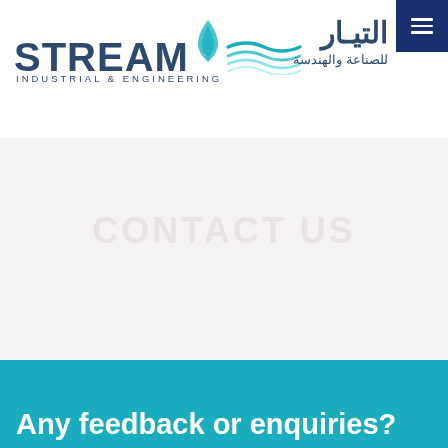[Figure (logo): Stream Industrial & Engineering logo with flame icon and teal wave lines, plus Arabic text التيار للصناعة والهندسة on the right, and a dark blue hamburger menu button in top-right corner]
Any feedback or enquiries?